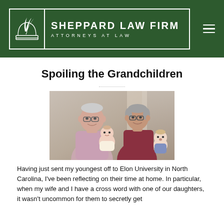SHEPPARD LAW FIRM — ATTORNEYS AT LAW
Spoiling the Grandchildren
[Figure (photo): Elderly couple (grandparents) smiling and holding two young grandchildren — a baby and a toddler — in a warm indoor setting.]
Having just sent my youngest off to Elon University in North Carolina, I've been reflecting on their time at home.  In particular, when my wife and I have a cross word with one of our daughters, it wasn't uncommon for them to secretly get